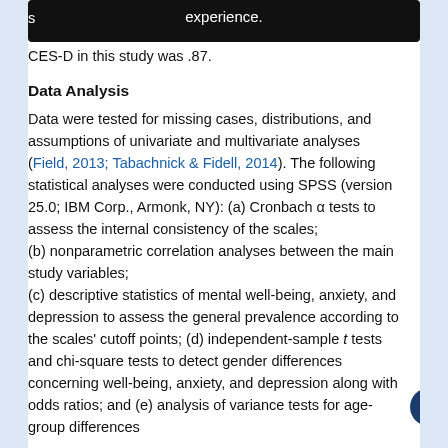CES-D in this study was .87.
Data Analysis
Data were tested for missing cases, distributions, and assumptions of univariate and multivariate analyses (Field, 2013; Tabachnick & Fidell, 2014). The following statistical analyses were conducted using SPSS (version 25.0; IBM Corp., Armonk, NY): (a) Cronbach α tests to assess the internal consistency of the scales; (b) nonparametric correlation analyses between the main study variables; (c) descriptive statistics of mental well-being, anxiety, and depression to assess the general prevalence according to the scales' cutoff points; (d) independent-sample t tests and chi-square tests to detect gender differences concerning well-being, anxiety, and depression along with odds ratios; and (e) analysis of variance tests for age-group differences